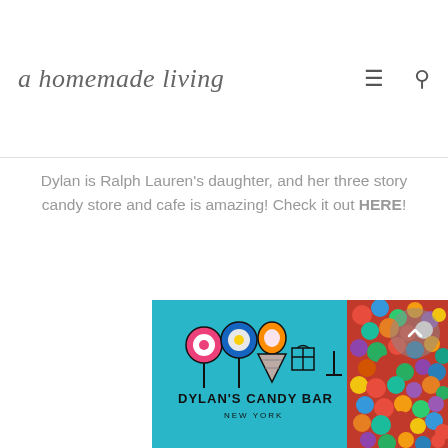a homemade living
Dylan is Ralph Lauren's daughter, and her three story candy store and cafe is amazing! Check it out HERE!
[Figure (photo): Photo of a teal/turquoise Dylan's Candy Bar branded bag with colorful lollipop and ice cream cone logos, labeled 'Dylan's Candy Bar - New York', surrounded by colorful gumballs on the right side.]